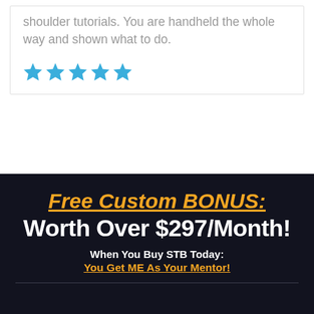shoulder tutorials. You are handheld the whole way and shown what to do.
[Figure (other): Five blue star rating icons in a row]
Free Custom BONUS:
Worth Over $297/Month!
When You Buy STB Today: You Get ME As Your Mentor!